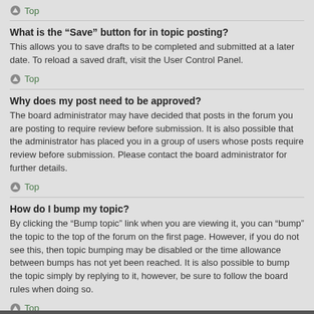Top
What is the “Save” button for in topic posting?
This allows you to save drafts to be completed and submitted at a later date. To reload a saved draft, visit the User Control Panel.
Top
Why does my post need to be approved?
The board administrator may have decided that posts in the forum you are posting to require review before submission. It is also possible that the administrator has placed you in a group of users whose posts require review before submission. Please contact the board administrator for further details.
Top
How do I bump my topic?
By clicking the “Bump topic” link when you are viewing it, you can “bump” the topic to the top of the forum on the first page. However, if you do not see this, then topic bumping may be disabled or the time allowance between bumps has not yet been reached. It is also possible to bump the topic simply by replying to it, however, be sure to follow the board rules when doing so.
Top